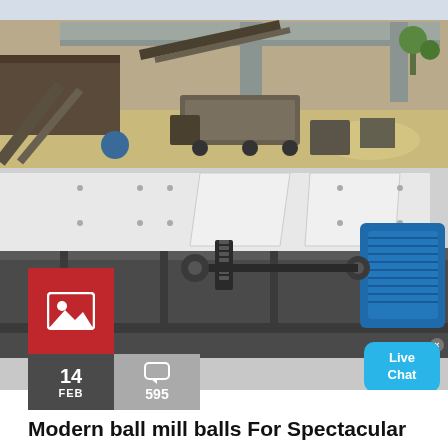[Figure (photo): Top photo showing an industrial construction/crushing site with conveyor belts, machinery, trucks, piles of sand/gravel, and a bridge or overpass structure in the background.]
[Figure (photo): Bottom photo showing a close-up of a vibrating screen or similar industrial mineral processing machine, with white metal panels, springs, bolts, and a blue electric motor on the right. A red box with an image icon is overlaid on the lower-left, and a Live Chat bubble is on the upper-right.]
Modern ball mill balls For Spectacular